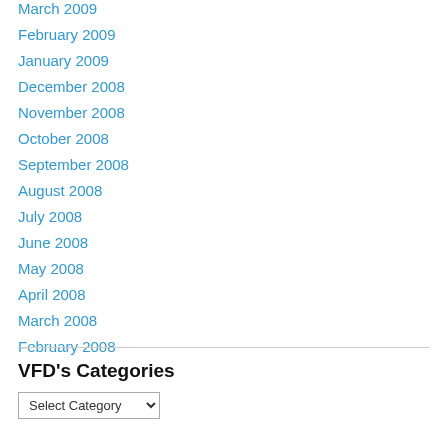March 2009
February 2009
January 2009
December 2008
November 2008
October 2008
September 2008
August 2008
July 2008
June 2008
May 2008
April 2008
March 2008
February 2008
VFD's Categories